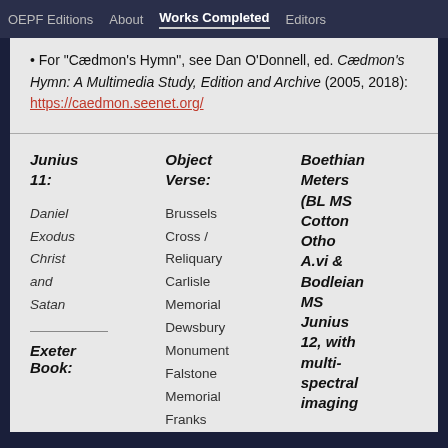OEPF Editions   About   Works Completed   Editors
• For "Cædmon's Hymn", see Dan O'Donnell, ed. Cædmon's Hymn: A Multimedia Study, Edition and Archive (2005, 2018): https://caedmon.seenet.org/
Junius 11:
Daniel
Exodus
Christ and Satan
Exeter Book:
Object Verse:
Brussels Cross / Reliquary
Carlisle Memorial
Dewsbury Monument
Falstone Memorial
Franks
Boethian Meters (BL MS Cotton Otho A.vi & Bodleian MS Junius 12, with multi-spectral imaging